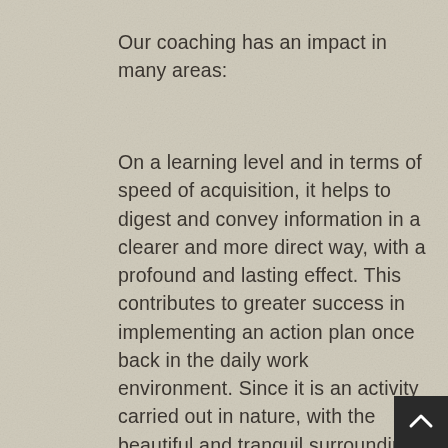Our coaching has an impact in many areas:
On a learning level and in terms of speed of acquisition, it helps to digest and convey information in a clearer and more direct way, with a profound and lasting effect. This contributes to greater success in implementing an action plan once back in the daily work environment. Since it is an activity carried out in nature, with the beautiful and tranquil surroundings we have in Pikdame, it breaks with the